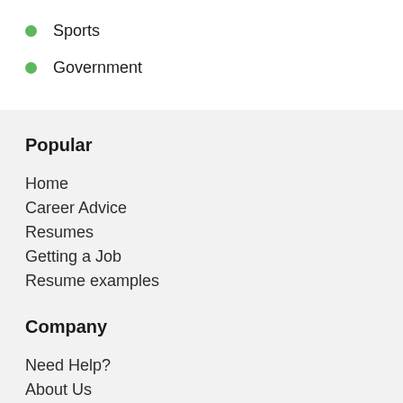Sports
Government
Popular
Home
Career Advice
Resumes
Getting a Job
Resume examples
Company
Need Help?
About Us
Pricing